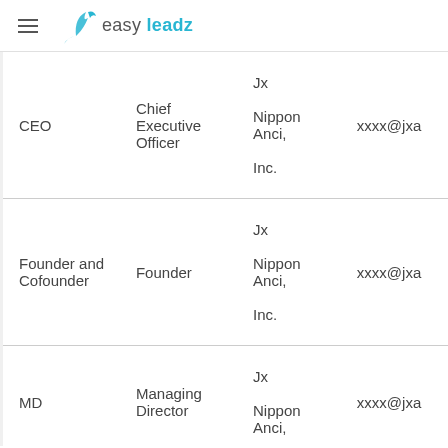easy leadz
| Role | Title | Company | Email |
| --- | --- | --- | --- |
| CEO | Chief Executive Officer | Jx Nippon Anci, Inc. | xxxx@jxa |
| Founder and Cofounder | Founder | Jx Nippon Anci, Inc. | xxxx@jxa |
| MD | Managing Director | Jx Nippon Anci, | xxxx@jxa |